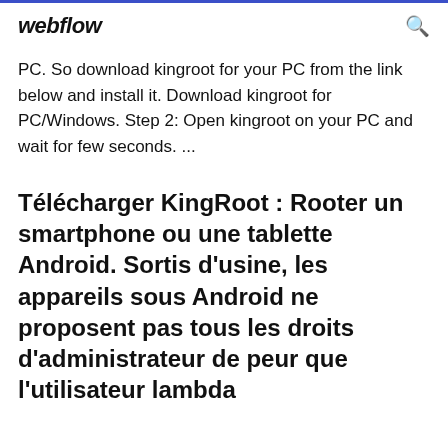webflow
PC. So download kingroot for your PC from the link below and install it. Download kingroot for PC/Windows. Step 2: Open kingroot on your PC and wait for few seconds. ...
Télécharger KingRoot : Rooter un smartphone ou une tablette Android. Sortis d'usine, les appareils sous Android ne proposent pas tous les droits d'administrateur de peur que l'utilisateur lambda